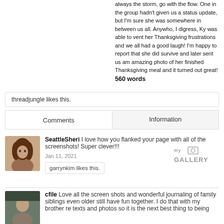always the storm, go with the flow. One in the group hadn't given us a status update, but I'm sure she was somewhere in between us all. Anywho, I digress, Ky was able to vent her Thanksgiving frustrations and we all had a good laugh! I'm happy to report that she did survive and later sent us am amazing photo of her finished Thanksgiving meal and it turned out great! 560 words
threadjungle likes this.
Comments
Information
SeattleSheri I love how you flanked your page with all of the screenshots! Super clever!!! Jan 11, 2021
garrynkim likes this.
[Figure (logo): my GALLERY watermark logo]
cfile Love all the screen shots and wonderful journaling of family siblings even older still have fun together. I do that with my brother re texts and photos so it is the next best thing to being